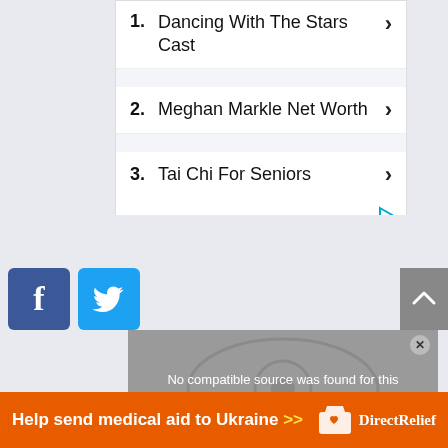1. Dancing With The Stars Cast ›
2. Meghan Markle Net Worth ›
3. Tai Chi For Seniors ›
[Figure (screenshot): Social share buttons: Facebook (blue) and Twitter (cyan) icons on the left; grey scroll-to-top button on the right]
[Figure (screenshot): Video player overlay with grey background showing 'No compatible source was found for this media.' with an X close button]
[Figure (infographic): Orange banner ad: 'Help send medical aid to Ukraine >>' with Direct Relief logo]